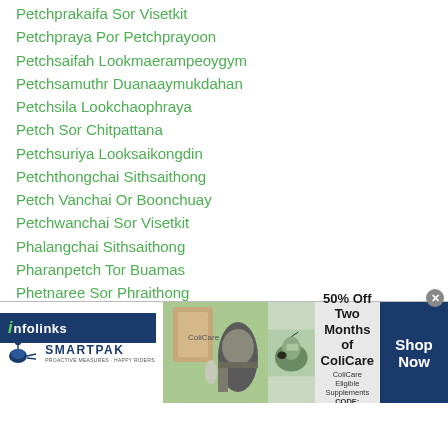Petchprakaifa Sor Visetkit
Petchpraya Por Petchprayoon
Petchsaifah Lookmaerampeoygym
Petchsamuthr Duanaaymukdahan
Petchsila Lookchaophraya
Petch Sor Chitpattana
Petchsuriya Looksaikongdin
Petchthongchai Sithsaithong
Petch Vanchai Or Boonchuay
Petchwanchai Sor Visetkit
Phalangchai Sithsaithong
Pharanpetch Tor Buamas
Phetnaree Sor Phraithong
Phetsaifar Lukmaelamperigym
Philip Luis Cuerdo
Phissanuthep Chaiyonggym
[Figure (infographic): SmartPak advertisement banner: '50% Off Two Months of ColiCare, ColiCare Eligible Supplements, CODE: COLICARE10, Shop Now']
[Figure (logo): Infolinks navigation bar]